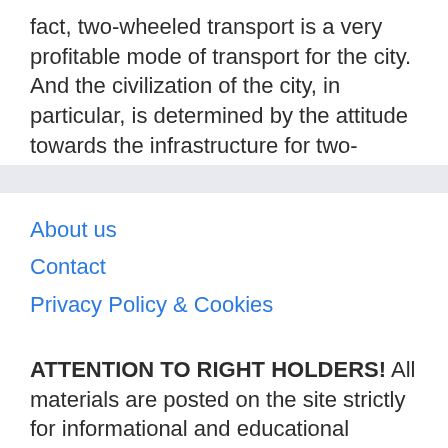fact, two-wheeled transport is a very profitable mode of transport for the city. And the civilization of the city, in particular, is determined by the attitude towards the infrastructure for two-wheeled transport.
About us
Contact
Privacy Policy & Cookies
ATTENTION TO RIGHT HOLDERS! All materials are posted on the site strictly for informational and educational purposes! If you believe that the posting of any material infringes your copyright, be sure to contact